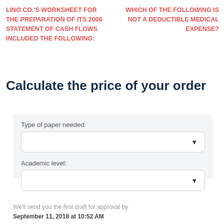LINO CO.'S WORKSHEET FOR THE PREPARATION OF ITS 2006 STATEMENT OF CASH FLOWS INCLUDED THE FOLLOWING:
WHICH OF THE FOLLOWING IS NOT A DEDUCTIBLE MEDICAL EXPENSE?
Calculate the price of your order
Type of paper needed:
Academic level:
We'll send you the first draft for approval by September 11, 2018 at 10:52 AM